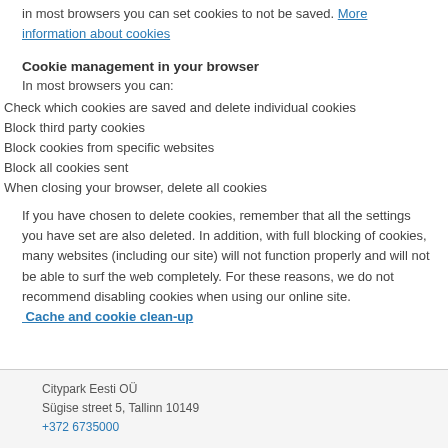in most browsers you can set cookies to not be saved. More information about cookies
Cookie management in your browser
In most browsers you can:
Check which cookies are saved and delete individual cookies
Block third party cookies
Block cookies from specific websites
Block all cookies sent
When closing your browser, delete all cookies
If you have chosen to delete cookies, remember that all the settings you have set are also deleted. In addition, with full blocking of cookies, many websites (including our site) will not function properly and will not be able to surf the web completely. For these reasons, we do not recommend disabling cookies when using our online site. Cache and cookie clean-up
Citypark Eesti OÜ
Sügise street 5, Tallinn 10149
+372 6735000